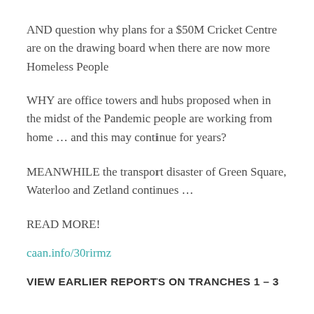AND question why plans for a $50M Cricket Centre are on the drawing board when there are now more Homeless People
WHY are office towers and hubs proposed when in the midst of the Pandemic people are working from home … and this may continue for years?
MEANWHILE the transport disaster of Green Square, Waterloo and Zetland continues …
READ MORE!
caan.info/30rirmz
VIEW EARLIER REPORTS ON TRANCHES 1 – 3